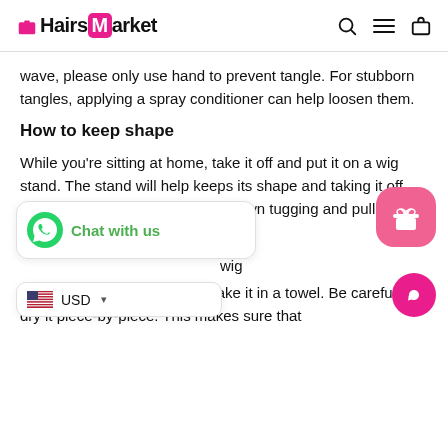HairsMarket
wave, please only use hand to prevent tangle. For stubborn tangles, applying a spray conditioner can help loosen them.
How to keep shape
While you're sitting at home, take it off and put it on a wig stand. The stand will help keeps its shape and taking it off your head takes away from your own tugging and pulling hairs out.
vig
a wig, do not shake it in a towel. Be careful and dry it piece-by-piece. This makes sure that